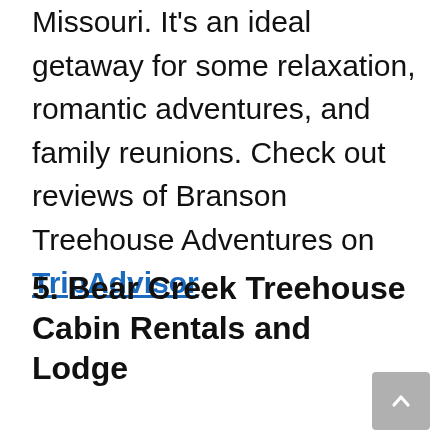Missouri. It's an ideal getaway for some relaxation, romantic adventures, and family reunions. Check out reviews of Branson Treehouse Adventures on TripAdvisor.
5. Bear Creek Treehouse Cabin Rentals and Lodge